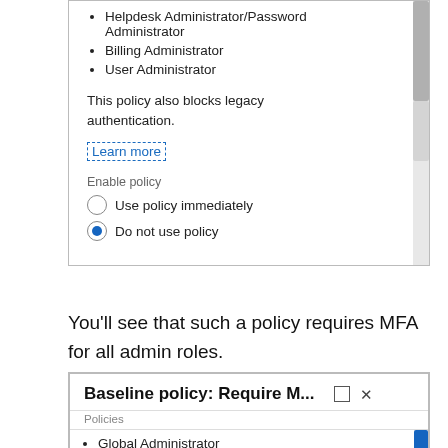[Figure (screenshot): UI panel showing bullet list with Helpdesk Administrator/Password Administrator, Billing Administrator, User Administrator; text 'This policy also blocks legacy authentication.'; 'Learn more' link with dashed blue border; Enable policy radio buttons: 'Use policy immediately' (unselected) and 'Do not use policy' (selected, blue dot); right scrollbar.]
You’ll see that such a policy requires MFA for all admin roles.
[Figure (screenshot): UI panel titled 'Baseline policy: Require M...' with minimize and close buttons, 'Policies' label, bullet list: Global Administrator, SharePoint Administrator, Exchange Administrator (truncated); right scrollbar.]